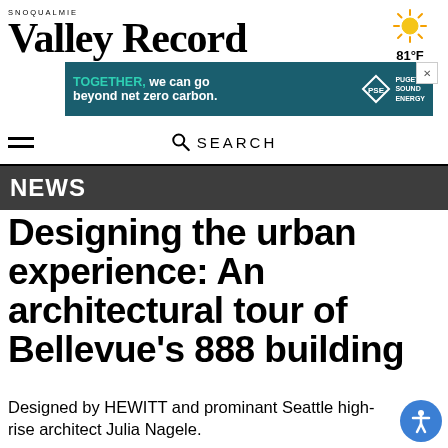SNOQUALMIE VALLEY RECORD
[Figure (infographic): Advertisement banner: teal background with text 'TOGETHER, we can go beyond net zero carbon.' and Puget Sound Energy PSE diamond logo]
81°F
NEWS
Designing the urban experience: An architectural tour of Bellevue's 888 building
Designed by HEWITT and prominant Seattle high-rise architect Julia Nagele.